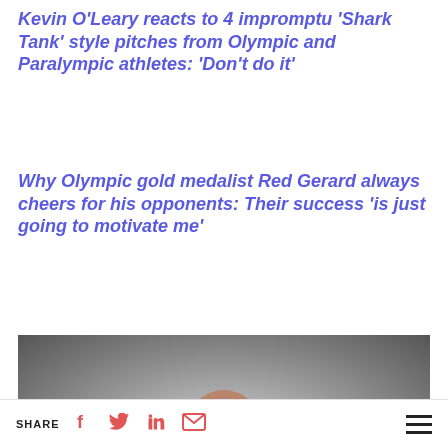Kevin O'Leary reacts to 4 impromptu ‘Shark Tank’ style pitches from Olympic and Paralympic athletes: ‘Don’t do it’
Why Olympic gold medalist Red Gerard always cheers for his opponents: Their success ‘is just going to motivate me’
[Figure (photo): Video thumbnail showing a bald man in a dark suit with a large red play button overlay. A teal/cyan progress bar at the bottom shows duration 1:57.]
SHARE [facebook] [twitter] [linkedin] [email] [menu]